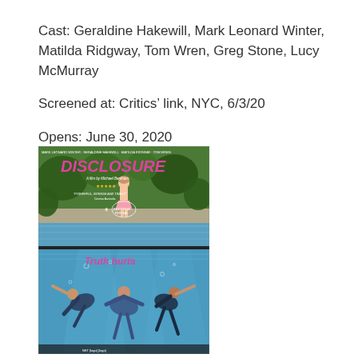Cast: Geraldine Hakewill, Mark Leonard Winter, Matilda Ridgway, Tom Wren, Greg Stone, Lucy McMurray
Screened at: Critics' link, NYC, 6/3/20
Opens: June 30, 2020
[Figure (photo): Movie poster for 'Disclosure' (top half) showing a child standing at the edge of a swimming pool with lush garden background, pink title text 'DISCLOSURE', cast names at top, film award laurels, and tagline. Bottom half shows an underwater scene of people struggling underwater in a pool, with 'Truth hurts' text in pink.]